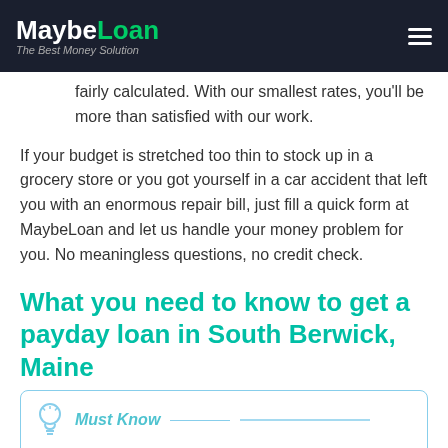MaybeLoan — The Best Money Solution
fairly calculated. With our smallest rates, you'll be more than satisfied with our work.
If your budget is stretched too thin to stock up in a grocery store or you got yourself in a car accident that left you with an enormous repair bill, just fill a quick form at MaybeLoan and let us handle your money problem for you. No meaningless questions, no credit check.
What you need to know to get a payday loan in South Berwick, Maine
Must Know
Payday loans are accompanied by various laws and regulations in every state, so South Berwick, Maine